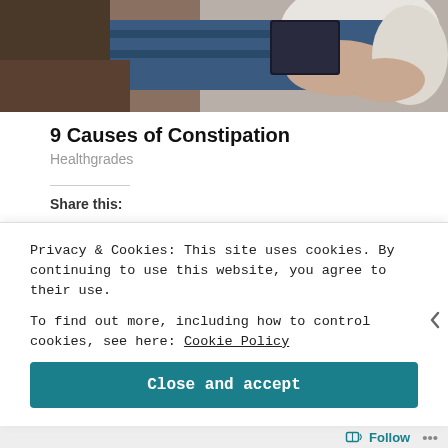[Figure (photo): Person in white top and jeans reclining on a brown couch holding a book, with hand on abdomen]
9 Causes of Constipation
Healthgrades
Share this:
Twitter  Facebook  Pinterest  LinkedIn
Privacy & Cookies: This site uses cookies. By continuing to use this website, you agree to their use.
To find out more, including how to control cookies, see here: Cookie Policy
Close and accept
Follow ...